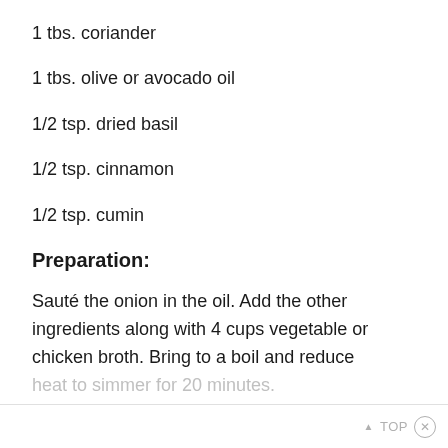1 tbs. coriander
1 tbs. olive or avocado oil
1/2 tsp. dried basil
1/2 tsp. cinnamon
1/2 tsp. cumin
Preparation:
Sauté the onion in the oil. Add the other ingredients along with 4 cups vegetable or chicken broth. Bring to a boil and reduce heat to simmer for 20 minutes.
▲ TOP ⊗